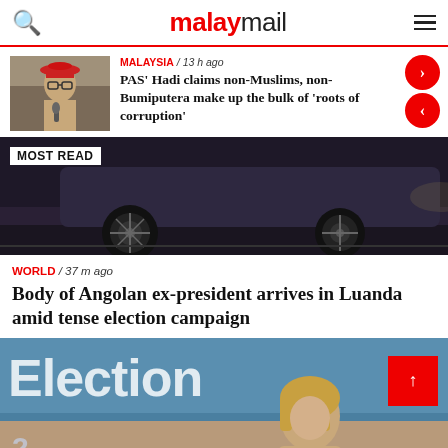malaymail
MALAYSIA / 13 h ago
PAS' Hadi claims non-Muslims, non-Bumiputera make up the bulk of 'roots of corruption'
MOST READ
[Figure (photo): Dark image of a car wheel/tire on road]
WORLD / 37 m ago
Body of Angolan ex-president arrives in Luanda amid tense election campaign
[Figure (photo): Election banner with a woman figure in foreground]